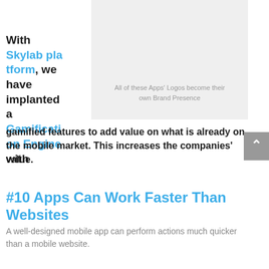With Skylab platform, we have implanted a Gamification Engine with
[Figure (illustration): Light gray placeholder image block with caption text: All of these Apps' Logos become their own Brand Presence]
All of these Apps' Logos become their own Brand Presence
gamified features to add value on what is already on the mobile market. This increases the companies' value.
#10 Apps Can Work Faster Than Websites
A well-designed mobile app can perform actions much quicker than a mobile website.